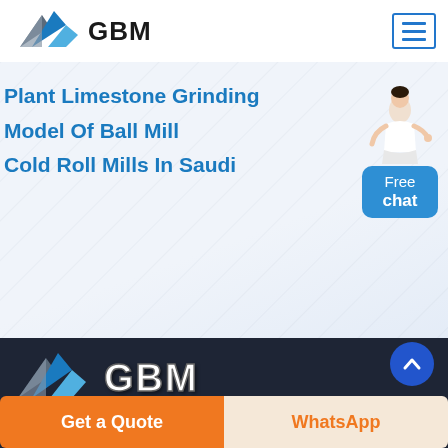[Figure (logo): GBM company logo with mountain/arrow graphic and bold GBM text]
[Figure (other): Hamburger menu button with three horizontal blue lines in a bordered box]
Plant Limestone Grinding
Model Of Ball Mill
Cold Roll Mills In Saudi
[Figure (illustration): Female customer service representative with Free chat button]
[Figure (logo): GBM company logo large version on dark background]
[Figure (other): Blue circular scroll-to-top button with upward chevron arrow]
Get a Quote
WhatsApp